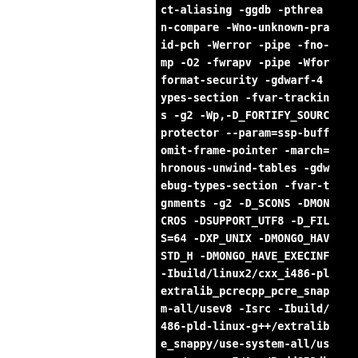ct-aliasing -ggdb -pthread -n-compare -Wno-unknown-pragma -id-pch -Werror -pipe -fno-mp -O2 -fwrapv -pipe -Wformat-security -gdwarf-4 -ypes-section -fvar-tracking-s -g2 -Wp,-D_FORTIFY_SOURCE protector --param=ssp-buffer omit-frame-pointer -march= hronous-unwind-tables -gdw ebug-types-section -fvar-t gnments -g2 -D_SCONS -DMONGO CROS -DSUPPORT_UTF8 -D_FILE S=64 -DXP_UNIX -DMONGO_HAVE STD_H -DMONGO_HAVE_EXECINFO -Ibuild/linux2/cxx_i486-pl extralib_pcrecpp_pcre_snap m-all/usev8 -Isrc -Ibuild/ 486-pld-linux-g++/extralib e_snappy/use-system-all/us src/mongo -I/tmp/B.dd852db 8af6-493f936df352/BUILD/v8 c/mongo/db/clientcursor.cp i486-pld-linux-g++ -o bui